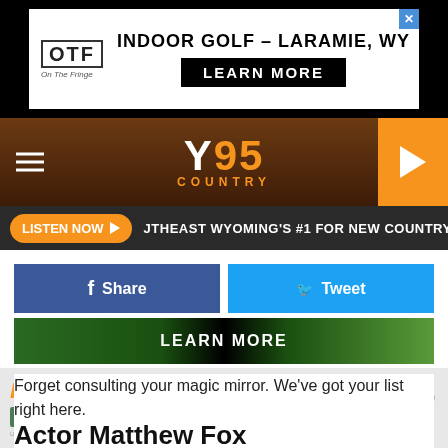[Figure (screenshot): OTF Indoor Golf Laramie WY advertisement banner with Learn More button]
[Figure (logo): Y95 Country radio station logo with navigation bar and play button]
[Figure (screenshot): Listen Now button with Southeast Wyoming's #1 For New Country ticker and Y95 label]
[Figure (screenshot): Facebook Share and Twitter Tweet social buttons]
[Figure (screenshot): Learn More advertisement banner with green graphic design]
Forget consulting your magic mirror. We've got your list right here.
Actor Matthew Fox
[Figure (photo): Partial photo of a person, presumably actor Matthew Fox]
[Figure (screenshot): Brewtober Laramie's Annual Fall Beer Festival advertisement - Saturday Oct 15 12-5 PM with Tickets button]